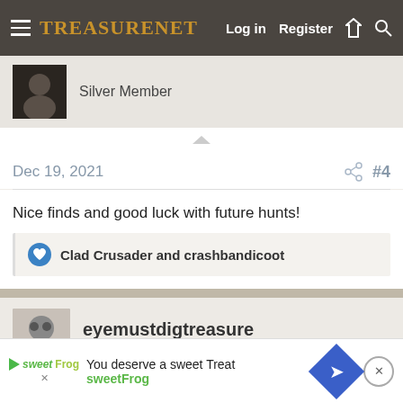TreasureNet  Log in  Register
Silver Member
Dec 19, 2021  #4
Nice finds and good luck with future hunts!
Clad Crusader and crashbandicoot
eyemustdigtreasure
Silver Member
Dec 19, 2021  #5
You deserve a sweet Treat
sweetFrog